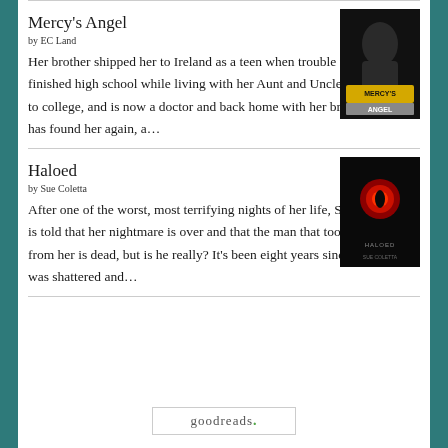Mercy's Angel
by EC Land
Her brother shipped her to Ireland as a teen when trouble found her. She finished high school while living with her Aunt and Uncle there, went to college, and is now a doctor and back home with her brother. Trouble has found her again, a...
[Figure (photo): Book cover for Mercy's Angel — dark cover with a figure, yellow and white title text]
Haloed
by Sue Coletta
After one of the worst, most terrifying nights of her life, Sage Quintano is told that her nightmare is over and that the man that took so much from her is dead, but is he really? It's been eight years since Sage's life was shattered and...
[Figure (photo): Book cover for Haloed — dark cover with a red glowing orb/eye, author name Sue Coletta]
goodreads.